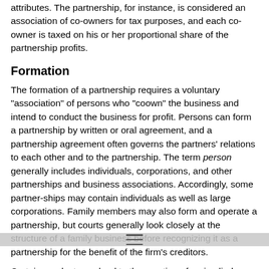attributes. The partnership, for instance, is considered an association of co-owners for tax purposes, and each co-owner is taxed on his or her proportional share of the partnership profits.
Formation
The formation of a partnership requires a voluntary "association" of persons who "coown" the business and intend to conduct the business for profit. Persons can form a partnership by written or oral agreement, and a partnership agreement often governs the partners' relations to each other and to the partnership. The term person generally includes individuals, corporations, and other partnerships and business associations. Accordingly, some partner-ships may contain individuals as well as large corporations. Family members may also form and operate a partnership, but courts generally look closely at the structure of a family business before recognizing it as a partnership for the benefit of the firm's creditors.
Certain conduct may lead to the creation of an implied partnership. Generally, if a person receives a portion of the profits from a business enterprise, the receipt of the profits is evidence of a partnership. If, however, a person receives a share of profits as repayment of a debt,